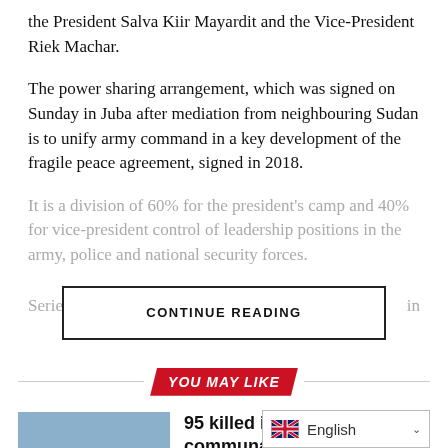the President Salva Kiir Mayardit and the Vice-President Riek Machar.
The power sharing arrangement, which was signed on Sunday in Juba after mediation from neighbouring Sudan is to unify army command in a key development of the fragile peace agreement, signed in 2018.
It is a division of 60% for the president’s camp and 40% for vice-president control of leadership positions in the army, police and national security forces.
Series of...in
CONTINUE READING
YOU MAY LIKE
[Figure (photo): Photo of soldiers or military personnel on a vehicle in South Sudan]
95 killed in various communal clashes in South Sudan in July – UN
English